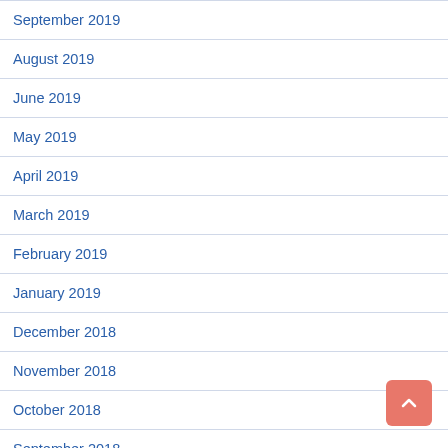September 2019
August 2019
June 2019
May 2019
April 2019
March 2019
February 2019
January 2019
December 2018
November 2018
October 2018
September 2018
August 2018
June 2018